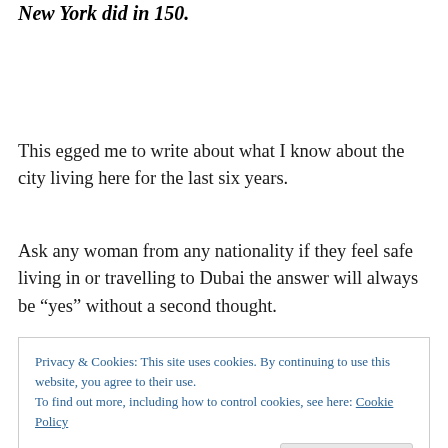New York did in 150.
This egged me to write about what I know about the city living here for the last six years.
Ask any woman from any nationality if they feel safe living in or travelling to Dubai the answer will always be “yes” without a second thought.
Privacy & Cookies: This site uses cookies. By continuing to use this website, you agree to their use.
To find out more, including how to control cookies, see here: Cookie Policy
Close and accept